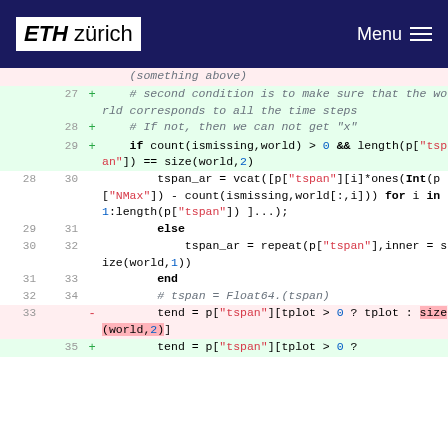ETH zürich  Menu
[Figure (screenshot): Code diff view showing Julia code changes. Lines 27-35 with added/removed markers. Green background for added lines, red for removed. Syntax highlighting with keywords in bold, strings in red, numbers in blue.]